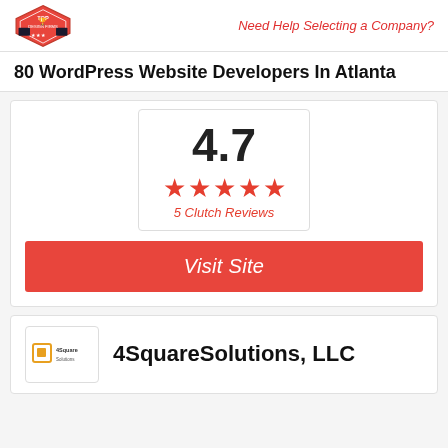TOP DESIGN FIRMS | Need Help Selecting a Company?
80 WordPress Website Developers In Atlanta
[Figure (other): Rating box showing 4.7 stars with 5 Clutch Reviews]
Visit Site
4SquareSolutions, LLC